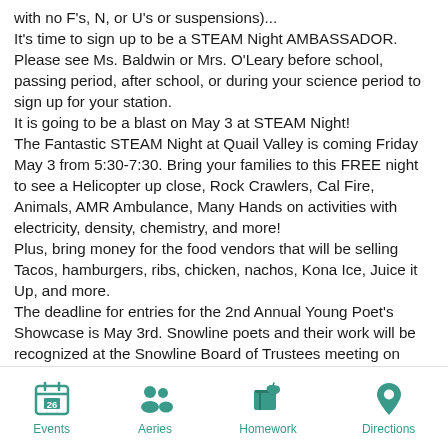with no F's, N, or U's or suspensions)... It's time to sign up to be a STEAM Night AMBASSADOR. Please see Ms. Baldwin or Mrs. O'Leary before school, passing period, after school, or during your science period to sign up for your station. It is going to be a blast on May 3 at STEAM Night! The Fantastic STEAM Night at Quail Valley is coming Friday May 3 from 5:30-7:30. Bring your families to this FREE night to see a Helicopter up close, Rock Crawlers, Cal Fire, Animals, AMR Ambulance, Many Hands on activities with electricity, density, chemistry, and more! Plus, bring money for the food vendors that will be selling Tacos, hamburgers, ribs, chicken, nachos, Kona Ice, Juice it Up, and more. The deadline for entries for the 2nd Annual Young Poet's Showcase is May 3rd. Snowline poets and their work will be recognized at the Snowline Board of Trustees meeting on Tuesday, May 28. If you're a 7th grader whose parents could not attend the meeting last week for the East Coast trip in 2020, information fi...
Events | Aeries | Homework | Directions